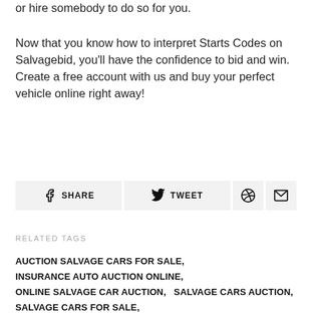or hire somebody to do so for you.
Now that you know how to interpret Starts Codes on Salvagebid, you'll have the confidence to bid and win. Create a free account with us and buy your perfect vehicle online right away!
[Figure (infographic): Social share buttons: Facebook SHARE, Twitter TWEET, Pinterest icon, Email icon]
RELATED TAGS
AUCTION SALVAGE CARS FOR SALE,
INSURANCE AUTO AUCTION ONLINE,
ONLINE SALVAGE CAR AUCTION,   SALVAGE CARS AUCTION,
SALVAGE CARS FOR SALE,
SALVAGE TITLE CARS FOR SALE BY OWNER,